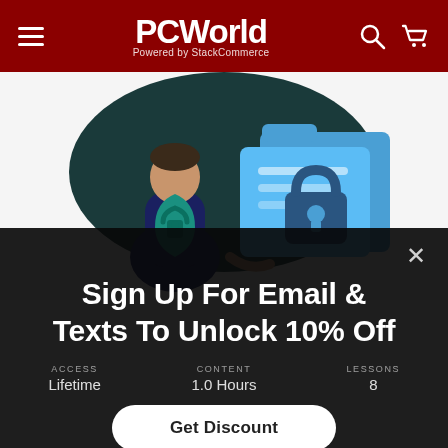PCWorld - Powered by StackCommerce
[Figure (illustration): Security illustration showing a male figure in dark blue security uniform with a gold shield badge, standing next to a large folder with a padlock. A teal shield with a lock icon is in the foreground. Background is dark teal/green blob shape.]
Sign Up For Email & Texts To Unlock 10% Off
ACCESS: Lifetime  CONTENT: 1.0 Hours  LESSONS: 8
Get Discount
ADD TO CART ($39.99)